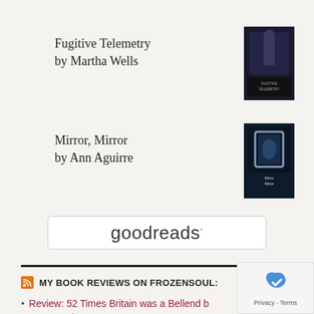Fugitive Telemetry
by Martha Wells
[Figure (photo): Book cover of Fugitive Telemetry by Martha Wells — dark cover with figure and text]
Mirror, Mirror
by Ann Aguirre
[Figure (photo): Book cover of Mirror, Mirror by Ann Aguirre — dark blue cover with mirror frame]
[Figure (logo): Goodreads widget logo — white rounded rectangle with 'goodreads' text]
MY BOOK REVIEWS ON FROZENSOUL:
Review: 52 Times Britain was a Bellend by James Felton